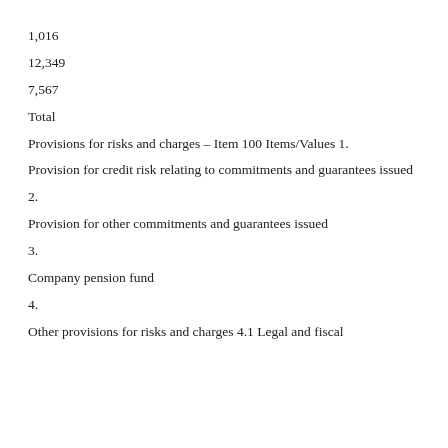1,016
12,349
7,567
Total
Provisions for risks and charges – Item 100 Items/Values 1.
Provision for credit risk relating to commitments and guarantees issued
2.
Provision for other commitments and guarantees issued
3.
Company pension fund
4.
Other provisions for risks and charges 4.1 Legal and fiscal